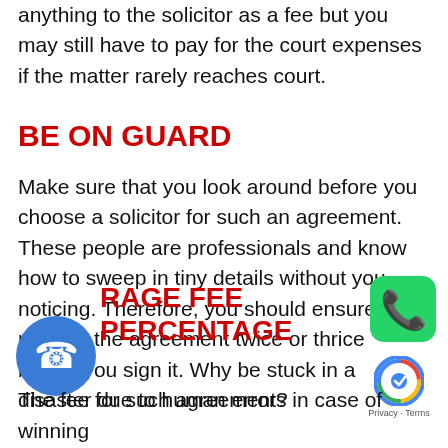anything to the solicitor as a fee but you may still have to pay for the court expenses if the matter rarely reaches court.
BE ON GUARD
Make sure that you look around before you choose a solicitor for such an agreement. These people are professionals and know how to sweep in tiny details without you noticing. Therefore, you should ensure reading the agreement twice or thrice before you sign it. Why be stuck in a disaster due to human error?
RAGE FEE PERCENTAGE
The fee for such agreements in case of winning